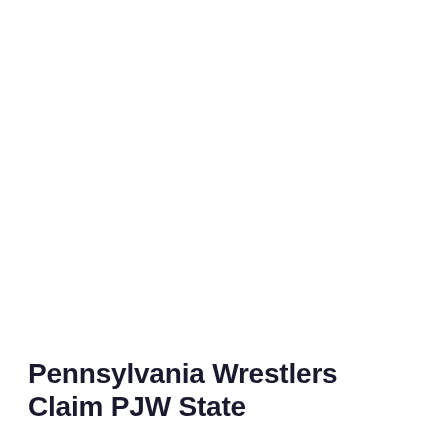Pennsylvania Wrestlers Claim PJW State